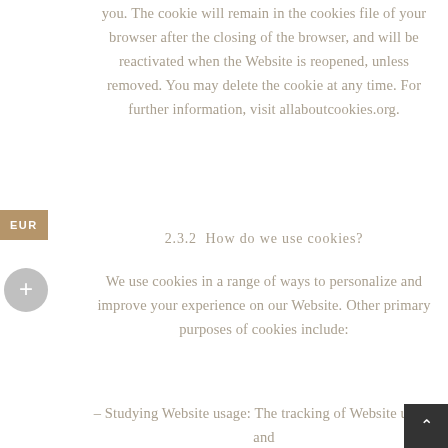you. The cookie will remain in the cookies file of your browser after the closing of the browser, and will be reactivated when the Website is reopened, unless removed. You may delete the cookie at any time. For further information, visit allaboutcookies.org.
2.3.2  How do we use cookies?
We use cookies in a range of ways to personalize and improve your experience on our Website. Other primary purposes of cookies include:
– Studying Website usage: The tracking of Website usage and